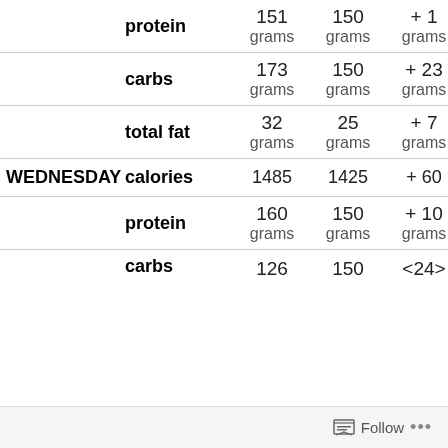| Day | Nutrient | Actual | Goal | Diff |
| --- | --- | --- | --- | --- |
|  | protein | 151 grams | 150 grams | + 1 grams |
|  | carbs | 173 grams | 150 grams | + 23 grams |
|  | total fat | 32 grams | 25 grams | + 7 grams |
| WEDNESDAY | calories | 1485 | 1425 | + 60 |
|  | protein | 160 grams | 150 grams | + 10 grams |
|  | carbs | 126 | 150 | <24> |
Follow